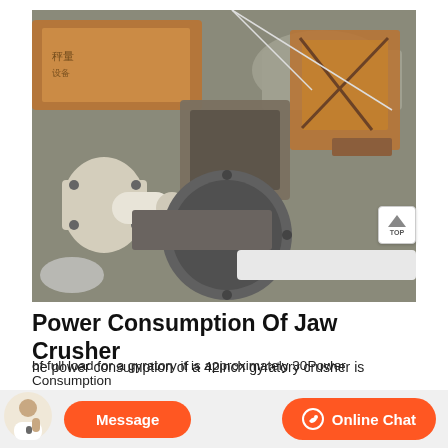[Figure (photo): Photograph of a jaw crusher machine in an industrial setting, with large flywheel, motor housing, and stone aggregates visible in a workshop/quarry environment.]
Power Consumption Of Jaw Crusher
he power consumption of a 42inch gyratory crusher is
of full load for a gyratory it is approximately 30Power Consumption